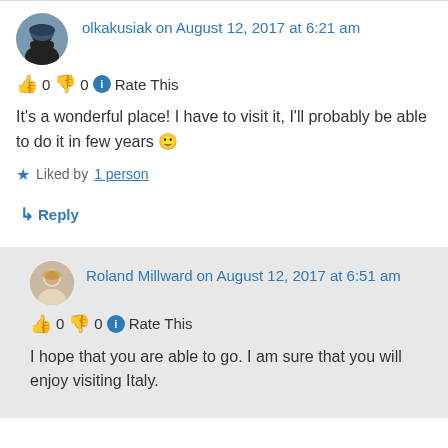olkakusiak on August 12, 2017 at 6:21 am
👍 0 👎 0 ℹ Rate This
It's a wonderful place! I have to visit it, I'll probably be able to do it in few years 🙂
★ Liked by 1 person
↳ Reply
Roland Millward on August 12, 2017 at 6:51 am
👍 0 👎 0 ℹ Rate This
I hope that you are able to go. I am sure that you will enjoy visiting Italy.